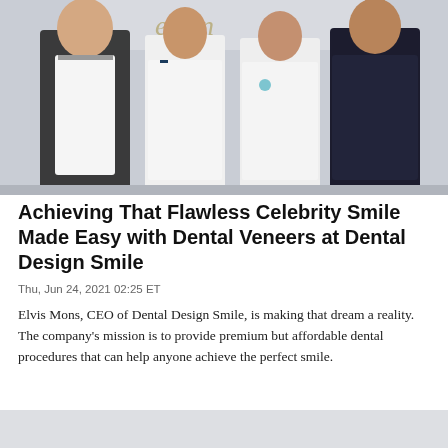[Figure (photo): Four people standing in front of a Dental Design Smile sign — one man in black scrubs on the left, two women in white lab coats in the center, and one man in a dark blazer on the right.]
Achieving That Flawless Celebrity Smile Made Easy with Dental Veneers at Dental Design Smile
Thu, Jun 24, 2021 02:25 ET
Elvis Mons, CEO of Dental Design Smile, is making that dream a reality. The company's mission is to provide premium but affordable dental procedures that can help anyone achieve the perfect smile.
[Figure (photo): Partial view of a second photo (bottom of page, cut off).]